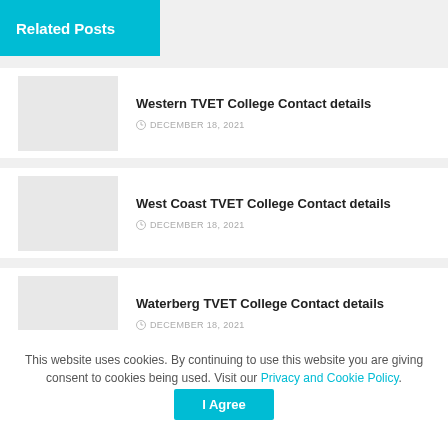Related Posts
Western TVET College Contact details
DECEMBER 18, 2021
West Coast TVET College Contact details
DECEMBER 18, 2021
Waterberg TVET College Contact details
DECEMBER 18, 2021
Vuselela TVET College Contact details
DECEMBER 18, 2021
This website uses cookies. By continuing to use this website you are giving consent to cookies being used. Visit our Privacy and Cookie Policy.